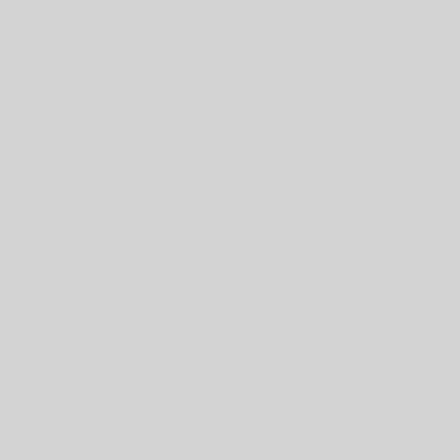| Field | Value |
| --- | --- |
| Maintainer: | Debian/Kubuntu Qt/KDE Maintainers |
| Uploaders: | Sune Vuorela <de...>, <kiagiadakis.geor...> |
| Binary: | kdepim-runtime |
| Source: | kdepimlibs |
| Maintainer: | Debian/Kubuntu Qt/KDE Maintainers |
| Uploaders: | Sune Vuorela <su...>, <kiagiadakis.geor...>, <lisandro@debian...> |
| Binary: | kdepimlibs-kio-plu... |
| Binary: | kdepimlibs5-dev |
| Binary: | libakonadi-calenda... |
| Binary: | libakonadi-contact... |
| Binary: | libakonadi-li... |